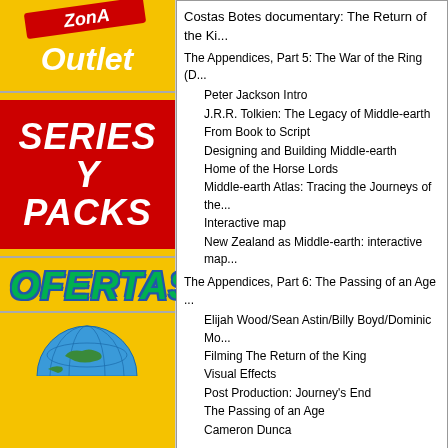[Figure (logo): Zona Outlet logo with red background and white text]
[Figure (illustration): SERIES Y PACKS red box with white bold italic text]
[Figure (illustration): OFERTAS text in green with blue outline, italic bold]
[Figure (illustration): Globe illustration at bottom of left column]
Costas Botes documentary: The Return of the King
The Appendices, Part 5: The War of the Ring (D...
Peter Jackson Intro
J.R.R. Tolkien: The Legacy of Middle-earth
From Book to Script
Designing and Building Middle-earth
Home of the Horse Lords
Middle-earth Atlas: Tracing the Journeys of the...
Interactive map
New Zealand as Middle-earth: interactive map...
The Appendices, Part 6: The Passing of an Age...
Elijah Wood/Sean Astin/Billy Boyd/Dominic Mo...
Filming The Return of the King
Visual Effects
Post Production: Journey's End
The Passing of an Age
Cameron Dunca
Recomendados
Piratas del Caribe: La venganza d...
El capitán Jack Sparrow por una de sus viejas né... Triángulo de las Bermuda... encontrar el legendario T... poseedor el control de lo...